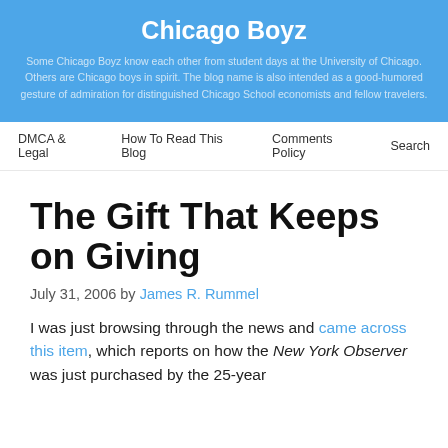Chicago Boyz
Some Chicago Boyz know each other from student days at the University of Chicago. Others are Chicago boys in spirit. The blog name is also intended as a good-humored gesture of admiration for distinguished Chicago School economists and fellow travelers.
DMCA & Legal   How To Read This Blog   Comments Policy   Search
The Gift That Keeps on Giving
July 31, 2006 by James R. Rummel
I was just browsing through the news and came across this item, which reports on how the New York Observer was just purchased by the 25-year